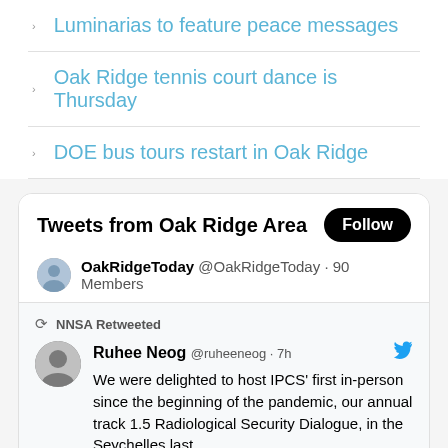Luminarias to feature peace messages
Oak Ridge tennis court dance is Thursday
DOE bus tours restart in Oak Ridge
Tweets from Oak Ridge Area
OakRidgeToday @OakRidgeToday · 90 Members
NNSA Retweeted
Ruhee Neog @ruheeneog · 7h
We were delighted to host IPCS' first in-person since the beginning of the pandemic, our annual track 1.5 Radiological Security Dialogue, in the Seychelles last